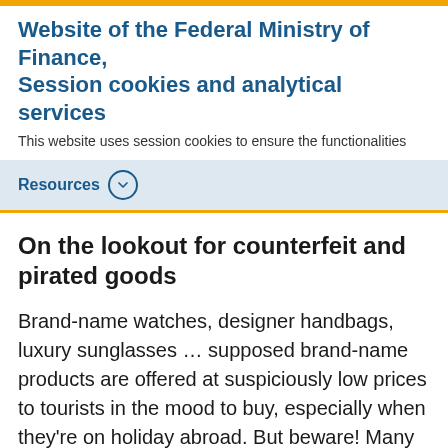Website of the Federal Ministry of Finance, Session cookies and analytical services
This website uses session cookies to ensure the functionalities
Resources
On the lookout for counterfeit and pirated goods
Brand-name watches, designer handbags, luxury sunglasses … supposed brand-name products are offered at suspiciously low prices to tourists in the mood to buy, especially when they're on holiday abroad. But beware! Many “deals” turn out to be cheap fakes. When this happens, seemingly inexpensive holiday souvenirs can actually be disappointing counterfeits that aren't worth the